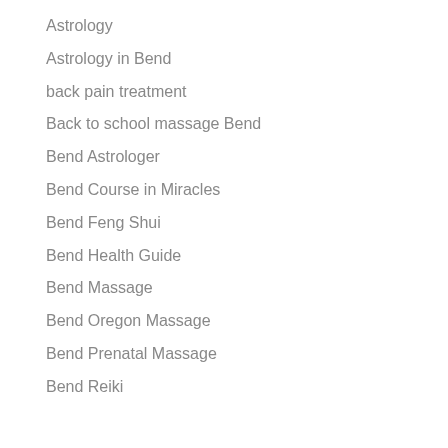Astrology
Astrology in Bend
back pain treatment
Back to school massage Bend
Bend Astrologer
Bend Course in Miracles
Bend Feng Shui
Bend Health Guide
Bend Massage
Bend Oregon Massage
Bend Prenatal Massage
Bend Reiki